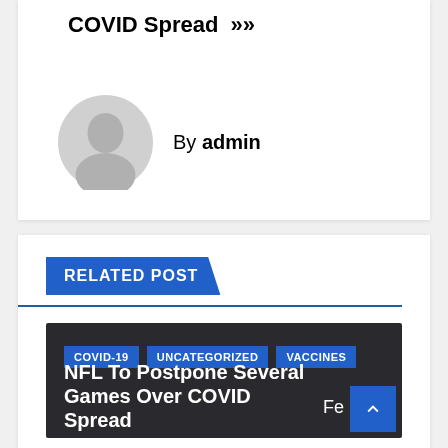COVID Spread »
By admin
RELATED POST
COVID-19  UNCATEGORIZED  VACCINES
NFL To Postpone Several Games Over COVID Spread